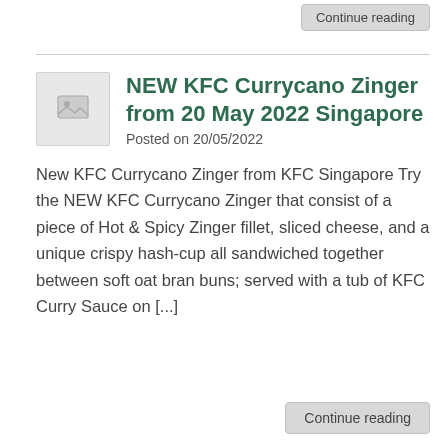Continue reading
NEW KFC Currycano Zinger from 20 May 2022 Singapore
Posted on 20/05/2022
New KFC Currycano Zinger from KFC Singapore Try the NEW KFC Currycano Zinger that consist of a piece of Hot & Spicy Zinger fillet, sliced cheese, and a unique crispy hash-cup all sandwiched together between soft oat bran buns; served with a tub of KFC Curry Sauce on [...]
Continue reading